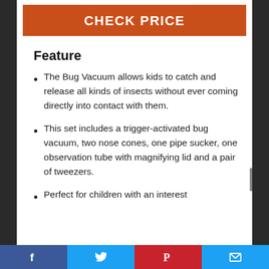[Figure (other): Orange banner button with text CHECK PRICE in white bold uppercase letters]
Feature
The Bug Vacuum allows kids to catch and release all kinds of insects without ever coming directly into contact with them.
This set includes a trigger-activated bug vacuum, two nose cones, one pipe sucker, one observation tube with magnifying lid and a pair of tweezers.
Perfect for children with an interest
Facebook | Twitter | Pinterest | Email social share bar